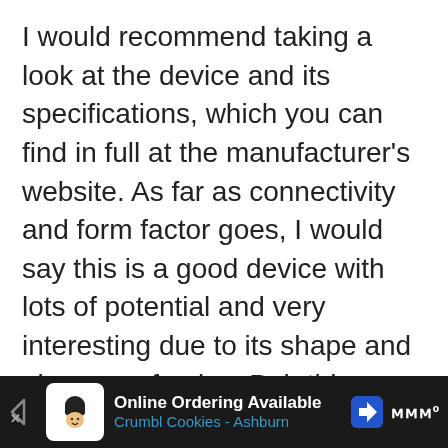I would recommend taking a look at the device and its specifications, which you can find in full at the manufacturer's website. As far as connectivity and form factor goes, I would say this is a good device with lots of potential and very interesting due to its shape and absence of noise. Pair this up with wireless remote control options, such as a keyboard and mouse combo, an infrared remote, or an application such as the Kore Android Remote App, and you got the starting blocks (pun very intended) for an amazing HTPC setup that's sure to spark interesting conversations...
[Figure (screenshot): Mobile advertisement banner at bottom: 'Online Ordering Available / Crumbl Cookies - Ashburn' with cookie logo and navigation arrow icon]